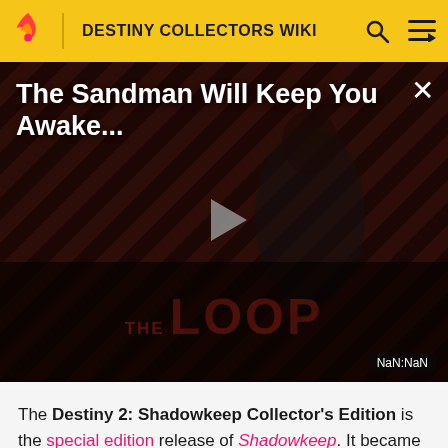DESTINY COLLECTORS WIKI
[Figure (screenshot): Video player overlay showing 'The Sandman Will Keep You Awake...' with a dark figure on a diagonal stripe background, play button in center, THE LOOP watermark, and NaN:NaN timestamp]
The Destiny 2: Shadowkeep Collector's Edition is the special edition release of Shadowkeep. It became available for preorder exclusively on the Bungie Store in June 2019, slated to ship alongside the release of the